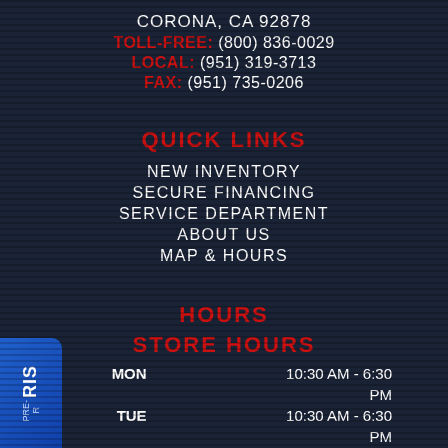CORONA, CA 92878
TOLL-FREE: (800) 836-0029
LOCAL: (951) 319-3713
FAX: (951) 735-0206
QUICK LINKS
NEW INVENTORY
SECURE FINANCING
SERVICE DEPARTMENT
ABOUT US
MAP & HOURS
HOURS
STORE HOURS
| Day | Hours |
| --- | --- |
| MON | 10:30 AM - 6:30 PM |
| TUE | 10:30 AM - 6:30 PM |